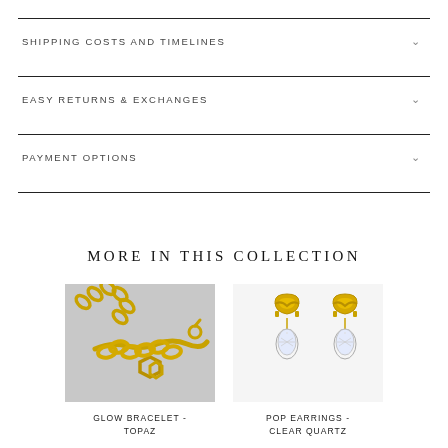SHIPPING COSTS AND TIMELINES
EASY RETURNS & EXCHANGES
PAYMENT OPTIONS
MORE IN THIS COLLECTION
[Figure (photo): Gold curb chain bracelet with geometric link charm, photographed on grey background]
GLOW BRACELET - TOPAZ
[Figure (photo): Pair of gold huggie hoop earrings with teardrop clear crystal/quartz charm pendants]
POP EARRINGS - CLEAR QUARTZ